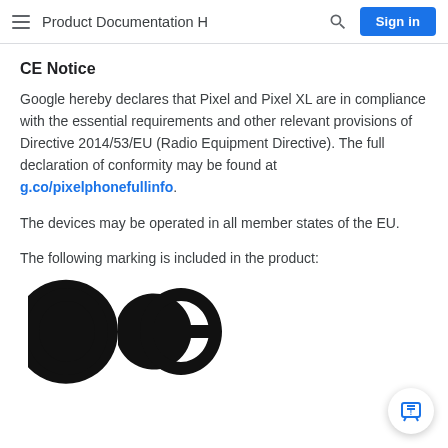Product Documentation H  🔍  Sign in
CE Notice
Google hereby declares that Pixel and Pixel XL are in compliance with the essential requirements and other relevant provisions of Directive 2014/53/EU (Radio Equipment Directive). The full declaration of conformity may be found at g.co/pixelphonefullinfo.
The devices may be operated in all member states of the EU.
The following marking is included in the product:
[Figure (logo): CE marking logo — large bold black letters C and E, stylized EU conformity mark]